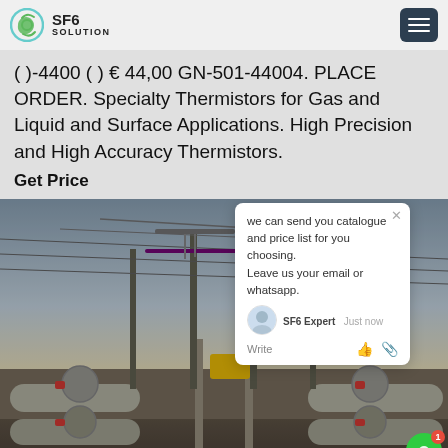SF6 SOLUTION
( )-4400 ( ) € 44,00 GN-501-44004. PLACE ORDER. Specialty Thermistors for Gas and Liquid and Surface Applications. High Precision and High Accuracy Thermistors.
Get Price
[Figure (photo): Electrical substation with SF6 gas-insulated switchgear pipes and high-voltage transmission lines infrastructure, viewed from ground level along a track between equipment.]
we can send you catalogue and price list for you choosing. Leave us your email or whatsapp.